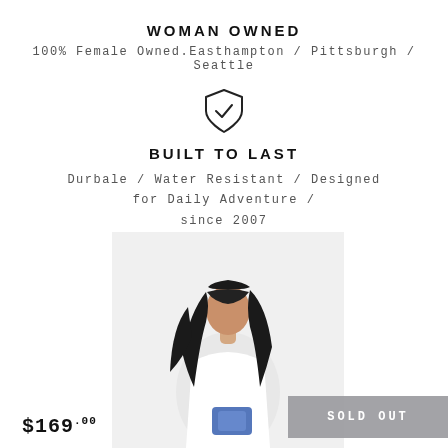WOMAN OWNED
100% Female Owned.Easthampton / Pittsburgh / Seattle
[Figure (illustration): Shield icon with checkmark]
BUILT TO LAST
Durbale / Water Resistant / Designed for Daily Adventure / since 2007
[Figure (photo): Woman with dark hair wearing white top and blue bag, product lifestyle photo]
$169.00
SOLD OUT